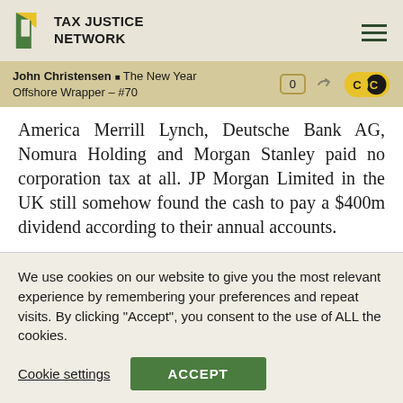TAX JUSTICE NETWORK
John Christensen ■ The New Year Offshore Wrapper – #70
America Merrill Lynch, Deutsche Bank AG, Nomura Holding and Morgan Stanley paid no corporation tax at all. JP Morgan Limited in the UK still somehow found the cash to pay a $400m dividend according to their annual accounts.
Reuters then followed up finding two more banks, Credit Suisse and Citigroup, with no corporation tax...
We use cookies on our website to give you the most relevant experience by remembering your preferences and repeat visits. By clicking "Accept", you consent to the use of ALL the cookies.